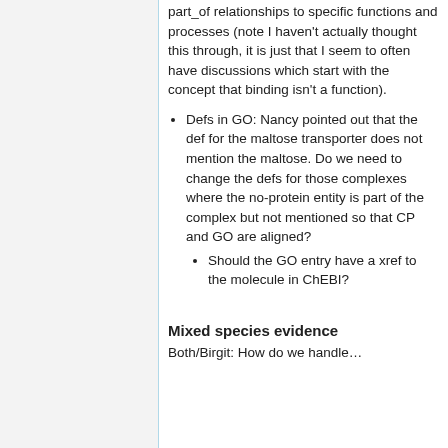part_of relationships to specific functions and processes (note I haven't actually thought this through, it is just that I seem to often have discussions which start with the concept that binding isn't a function).
Defs in GO: Nancy pointed out that the def for the maltose transporter does not mention the maltose. Do we need to change the defs for those complexes where the no-protein entity is part of the complex but not mentioned so that CP and GO are aligned?
Should the GO entry have a xref to the molecule in ChEBI?
Mixed species evidence
Both/Birgit: How do we handle...